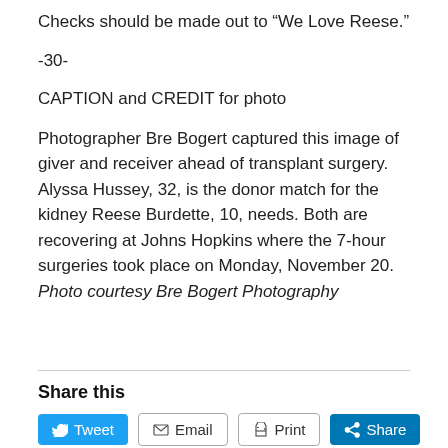Checks should be made out to “We Love Reese.”
-30-
CAPTION and CREDIT for photo
Photographer Bre Bogert captured this image of giver and receiver ahead of transplant surgery. Alyssa Hussey, 32, is the donor match for the kidney Reese Burdette, 10, needs. Both are recovering at Johns Hopkins where the 7-hour surgeries took place on Monday, November 20. Photo courtesy Bre Bogert Photography
Share this
Tweet | Email | Print | Share